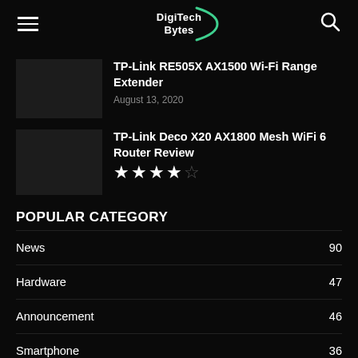DigiTech Bytes
TP-Link RE505X AX1500 Wi-Fi Range Extender
August 13, 2020
TP-Link Deco X20 AX1800 Mesh WiFi 6 Router Review
★★★★☆
POPULAR CATEGORY
News 90
Hardware 47
Announcement 46
Smartphone 36